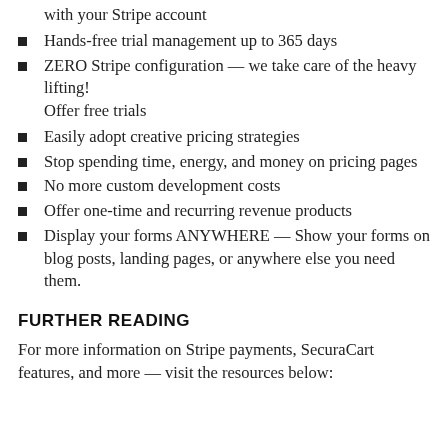with your Stripe account
Hands-free trial management up to 365 days
ZERO Stripe configuration — we take care of the heavy lifting!
Offer free trials
Easily adopt creative pricing strategies
Stop spending time, energy, and money on pricing pages
No more custom development costs
Offer one-time and recurring revenue products
Display your forms ANYWHERE — Show your forms on blog posts, landing pages, or anywhere else you need them.
FURTHER READING
For more information on Stripe payments, SecuraCart features, and more — visit the resources below: